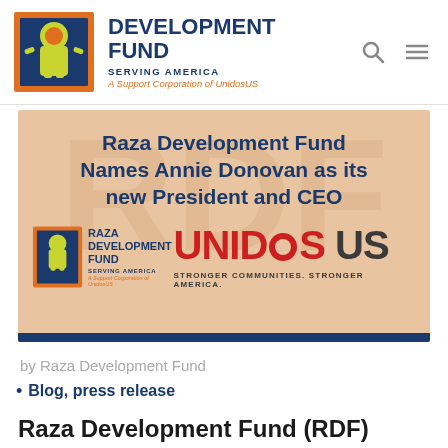DEVELOPMENT FUND SERVING AMERICA A Support Corporation of UnidosUS
[Figure (screenshot): Banner image with peach/tan background showing the announcement headline 'Raza Development Fund Names Annie Donovan as its new President and CEO' with Raza Development Fund logo on left and UnidosUS logo on right, with tagline 'STRONGER COMMUNITIES. STRONGER AMERICA.' A dark blue bar runs across the bottom.]
by Raza Development Fund
Blog, press release
Raza Development Fund (RDF) Names Annie